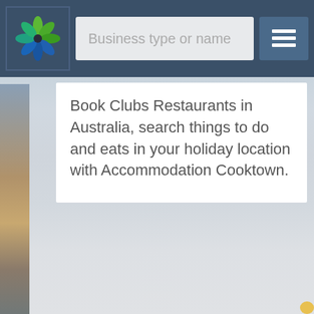[Figure (screenshot): Website navigation bar with a spinning flower/pinwheel logo on dark blue background, a search input field labeled 'Business type or name', and a hamburger menu button]
Book Clubs Restaurants in Australia, search things to do and eats in your holiday location with Accommodation Cooktown.
[Figure (photo): Background scenic photo of a coastal or harbor location at dusk/dawn with muted blue-grey tones]